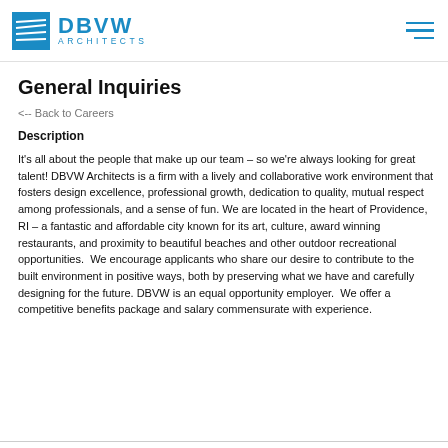DBVW ARCHITECTS
General Inquiries
<-- Back to Careers
Description
It's all about the people that make up our team – so we're always looking for great talent! DBVW Architects is a firm with a lively and collaborative work environment that fosters design excellence, professional growth, dedication to quality, mutual respect among professionals, and a sense of fun. We are located in the heart of Providence, RI – a fantastic and affordable city known for its art, culture, award winning restaurants, and proximity to beautiful beaches and other outdoor recreational opportunities.  We encourage applicants who share our desire to contribute to the built environment in positive ways, both by preserving what we have and carefully designing for the future. DBVW is an equal opportunity employer.  We offer a competitive benefits package and salary commensurate with experience.